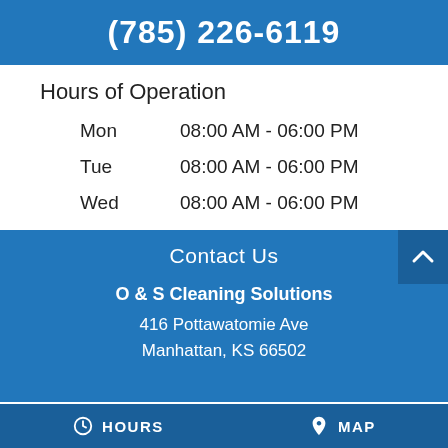(785) 226-6119
Hours of Operation
| Day | Hours |
| --- | --- |
| Mon | 08:00 AM - 06:00 PM |
| Tue | 08:00 AM - 06:00 PM |
| Wed | 08:00 AM - 06:00 PM |
| Thur | 08:00 AM - 06:00 PM |
| Fri | 08:00 AM - 06:00 PM |
Contact Us
O & S Cleaning Solutions
416 Pottawatomie Ave
Manhattan, KS 66502
HOURS   MAP